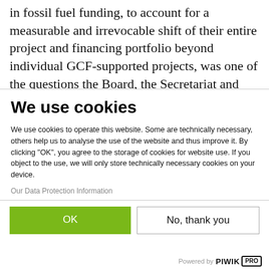in fossil fuel funding, to account for a measurable and irrevocable shift of their entire project and financing portfolio beyond individual GCF-supported projects, was one of the questions the Board, the Secretariat and observers attempted to tackle in Livingstone. The consideration of an initial
We use cookies
We use cookies to operate this website. Some are technically necessary, others help us to analyse the use of the website and thus improve it. By clicking "OK", you agree to the storage of cookies for website use. If you object to the use, we will only store technically necessary cookies on your device.
Our Data Protection Information
OK
No, thank you
Powered by PIWIK PRO